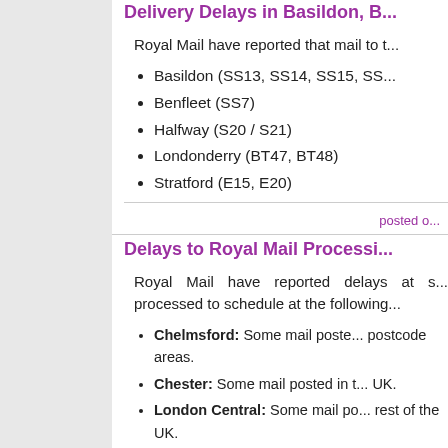Delivery Delays in Basildon, B...
Royal Mail have reported that mail to t...
Basildon (SS13, SS14, SS15, SS...)
Benfleet (SS7)
Halfway (S20 / S21)
Londonderry (BT47, BT48)
Stratford (E15, E20)
posted o...
Delays to Royal Mail Processi...
Royal Mail have reported delays at s... processed to schedule at the following...
Chelmsford: Some mail posted... postcode areas.
Chester: Some mail posted in t... UK.
London Central: Some mail po... rest of the UK.
Swindon: Some mail posted in o... areas.
Tyneside: Some mail posted in... postcode areas.